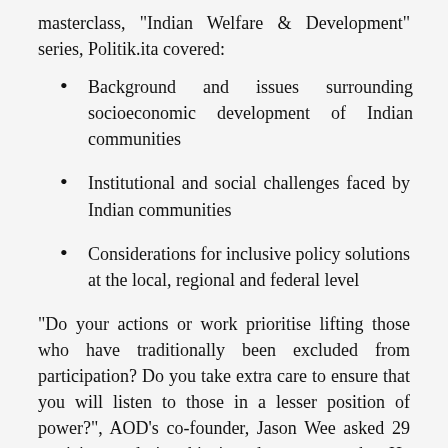masterclass, "Indian Welfare & Development" series, Politik.ita covered:
Background and issues surrounding socioeconomic development of Indian communities
Institutional and social challenges faced by Indian communities
Considerations for inclusive policy solutions at the local, regional and federal level
“Do your actions or work prioritise lifting those who have traditionally been excluded from participation? Do you take extra care to ensure that you will listen to those in a lesser position of power?”, AOD’s co-founder, Jason Wee asked 29 participants during his introductory remarks. He explained how there is an urgent need for policymakers to hold themselves accountable when crafting policies that incentivise